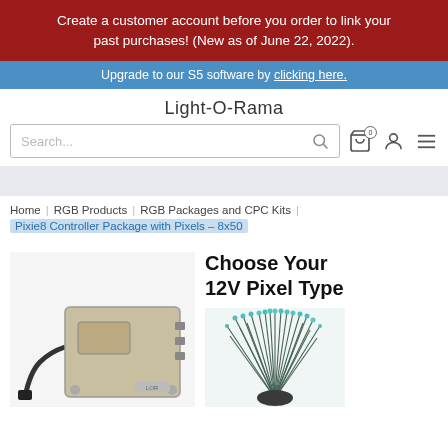Create a customer account before you order to link your past purchases! (New as of June 22, 2022).
Upgrade to our S5 software by clicking here.
Light-O-Rama
Search...
Home | RGB Products | RGB Packages and CPC Kits | Pixie8 Controller Package with Pixels – 8x50
[Figure (photo): Photo of Pixie8 controller hardware unit and pixel lights bundle]
Choose Your 12V Pixel Type